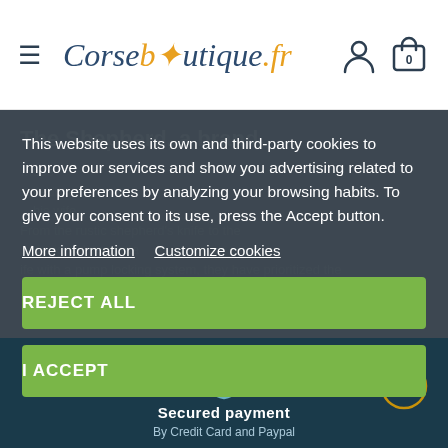Corseboutique.fr
The Shepherd, a brand
This website uses its own and third-party cookies to improve our services and show you advertising related to your preferences by analyzing your browsing habits. To give your consent to its use, press the Accept button.
More information   Customize cookies
REJECT ALL
I ACCEPT
Secured payment
By Credit Card and Paypal